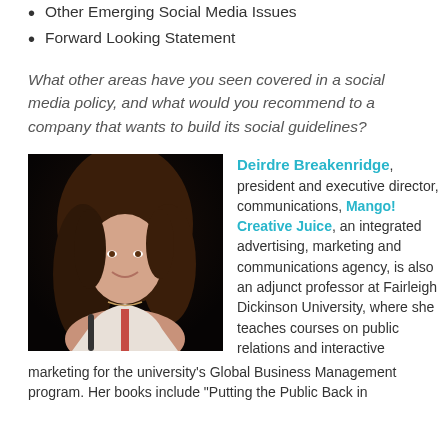Other Emerging Social Media Issues
Forward Looking Statement
What other areas have you seen covered in a social media policy, and what would you recommend to a company that wants to build its social guidelines?
[Figure (photo): Photo of Deirdre Breakenridge, a woman with long brown wavy hair, smiling, wearing a white top with red accents, seated at what appears to be a table or podium against a dark background.]
Deirdre Breakenridge, president and executive director, communications, Mango! Creative Juice, an integrated advertising, marketing and communications agency, is also an adjunct professor at Fairleigh Dickinson University, where she teaches courses on public relations and interactive marketing for the university's Global Business Management program. Her books include "Putting the Public Back in